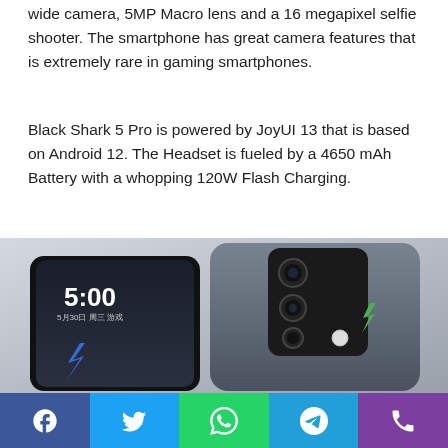wide camera, 5MP Macro lens and a 16 megapixel selfie shooter. The smartphone has great camera features that is extremely rare in gaming smartphones.
Black Shark 5 Pro is powered by JoyUI 13 that is based on Android 12. The Headset is fueled by a 4650 mAh Battery with a whopping 120W Flash Charging.
[Figure (photo): Black Shark 5 Pro smartphone showing front and back, with triple camera module on rear and Black Shark logo]
[Figure (infographic): Social sharing bar with Facebook, Twitter, WhatsApp, Telegram, and Phone icons]